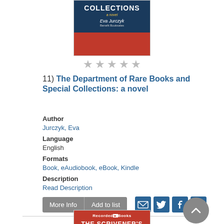[Figure (photo): Book cover for 'Collections: a novel' by Eva Jurczyk, showing orange figure against dark blue bookshelf background with red band at bottom]
[Figure (other): Five empty star rating icons]
11)  The Department of Rare Books and Special Collections: a novel
Author
Jurczyk, Eva
Language
English
Formats
Book, eAudiobook, eBook, Kindle
Description
Read Description
More Info
Add to list
[Figure (photo): Book cover for 'The Scrivener's Bones' from Recorded Books, red background with white title text]